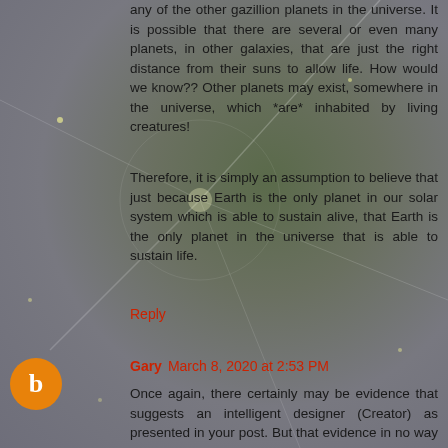any of the other gazillion planets in the universe. It is possible that there are several or even many planets, in other galaxies, that are just the right distance from their suns to allow life. How would we know?? Other planets may exist, somewhere in the universe, which *are* inhabited by living creatures!
Therefore, it is simply an assumption to believe that just because Earth is the only planet in our solar system which is able to sustain alive, that Earth is the only planet in the universe that is able to sustain life.
Reply
Gary March 8, 2020 at 2:53 PM
Once again, there certainly may be evidence that suggests an intelligent designer (Creator) as presented in your post. But that evidence in no way confirms the Christian claim as to the identify of that Creator. The million dollar question is: Are the known scientific facts compatible with Christianity's claims?